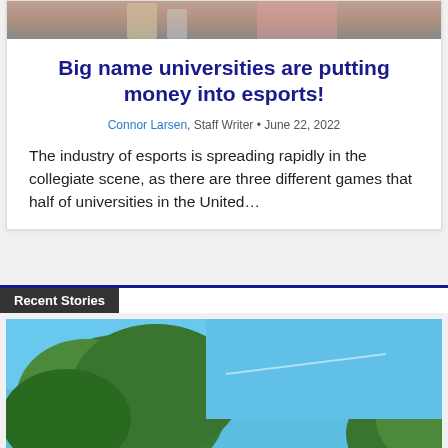[Figure (photo): Partial photo at top of article card, appears to show chess pieces or similar objects]
Big name universities are putting money into esports!
Connor Larsen, Staff Writer • June 22, 2022
The industry of esports is spreading rapidly in the collegiate scene, as there are three different games that half of universities in the United…
Recent Stories
[Figure (photo): Photo of a large green tree against a blue sky]